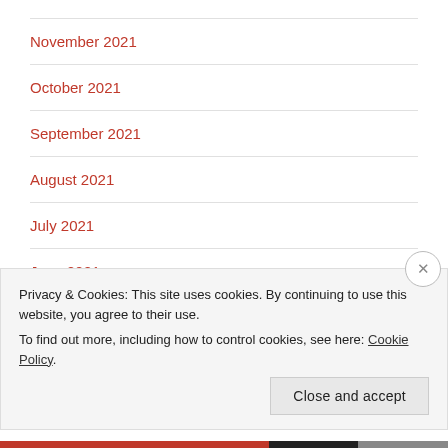November 2021
October 2021
September 2021
August 2021
July 2021
June 2021
Privacy & Cookies: This site uses cookies. By continuing to use this website, you agree to their use. To find out more, including how to control cookies, see here: Cookie Policy
Close and accept